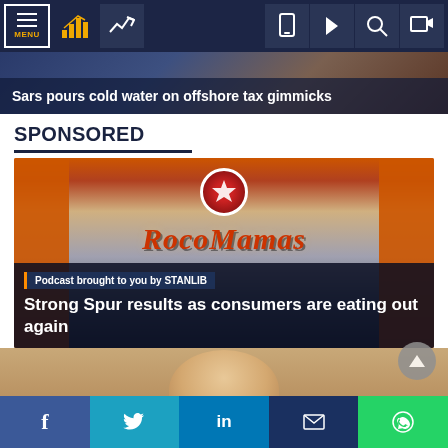MENU | navigation bar with chart icons, trending icon, mobile icon, play, search, login
[Figure (screenshot): Website screenshot showing a financial news site header and content area]
Sars pours cold water on offshore tax gimmicks
SPONSORED
Podcast brought to you by STANLIB
Strong Spur results as consumers are eating out again
Social share bar: Facebook, Twitter, LinkedIn, Email, WhatsApp